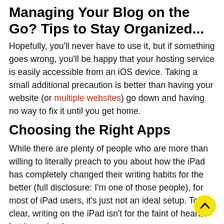Managing Your Blog on the Go? Tips to Stay Organized...
Hopefully, you'll never have to use it, but if something goes wrong, you'll be happy that your hosting service is easily accessible from an iOS device. Taking a small additional precaution is better than having your website (or multiple websites) go down and having no way to fix it until you get home.
Choosing the Right Apps
While there are plenty of people who are more than willing to literally preach to you about how the iPad has completely changed their writing habits for the better (full disclosure: I'm one of those people), for most of iPad users, it's just not an ideal setup. To be clear, writing on the iPad isn't for the faint of heart, but it can be done.
Unfortunately, using most of the blogging apps out there just